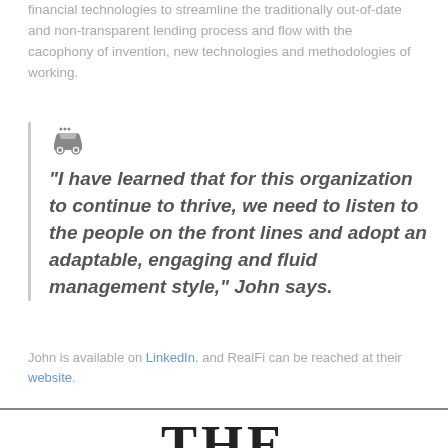financial technologies to streamline the traditionally out-of-date and non-transparent lending process and flow with the cacophony of invention, new technologies and methodologies of working.
“I have learned that for this organization to continue to thrive, we need to listen to the people on the front lines and adopt an adaptable, engaging and fluid management style,” John says.
John is available on LinkedIn, and RealFi can be reached at their website.
[Figure (logo): THE logo in large serif bold font at bottom of page]